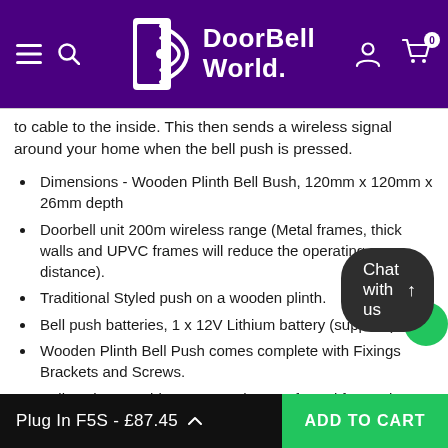DoorBell World
to cable to the inside. This then sends a wireless signal around your home when the bell push is pressed.
Dimensions - Wooden Plinth Bell Bush, 120mm x 120mm x 26mm depth
Doorbell unit 200m wireless range (Metal frames, thick walls and UPVC frames will reduce the operating distance).
Traditional Styled push on a wooden plinth.
Bell push batteries, 1 x 12V Lithium battery (supplied).
Wooden Plinth Bell Push comes complete with Fixings Brackets and Screws.
Bell push assembly, IP44 weatherproof rated for outdoor use.
Operating frequency, 433MHz.
Plug In F5S - £87.45  ADD TO CART